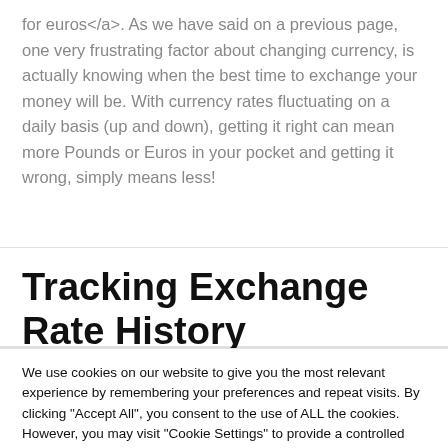for euros</a>. As we have said on a previous page, one very frustrating factor about changing currency, is actually knowing when the best time to exchange your money will be. With currency rates fluctuating on a daily basis (up and down), getting it right can mean more Pounds or Euros in your pocket and getting it wrong, simply means less!
Tracking Exchange Rate History
We use cookies on our website to give you the most relevant experience by remembering your preferences and repeat visits. By clicking "Accept All", you consent to the use of ALL the cookies. However, you may visit "Cookie Settings" to provide a controlled consent.